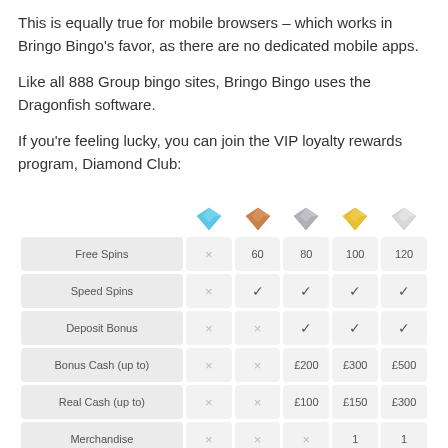This is equally true for mobile browsers – which works in Bringo Bingo's favor, as there are no dedicated mobile apps.
Like all 888 Group bingo sites, Bringo Bingo uses the Dragonfish software.
If you're feeling lucky, you can join the VIP loyalty rewards program, Diamond Club:
|  | Blue Diamond | Bronze Diamond | Silver Diamond | Gold Diamond | White Diamond |
| --- | --- | --- | --- | --- | --- |
| Free Spins | × | 60 | 80 | 100 | 120 |
| Speed Spins | × | ✓ | ✓ | ✓ | ✓ |
| Deposit Bonus | × | × | ✓ | ✓ | ✓ |
| Bonus Cash (up to) | × | × | £200 | £300 | £500 |
| Real Cash (up to) | × | × | £100 | £150 | £300 |
| Merchandise | × | × | × | 1 | 1 |
All you need to do is sign up and start depositing!